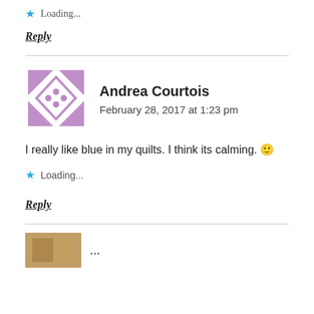Loading...
Reply
[Figure (illustration): Purple geometric avatar icon for Andrea Courtois]
Andrea Courtois
February 28, 2017 at 1:23 pm
I really like blue in my quilts. I think its calming. 🙂
Loading...
Reply
[Figure (photo): Small thumbnail photo of next commenter]